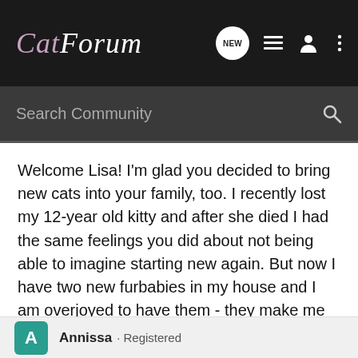CatForum
Search Community
Welcome Lisa! I'm glad you decided to bring new cats into your family, too. I recently lost my 12-year old kitty and after she died I had the same feelings you did about not being able to imagine starting new again. But now I have two new furbabies in my house and I am overjoyed to have them - they make me happy every day. 🙂
Annissa · Registered